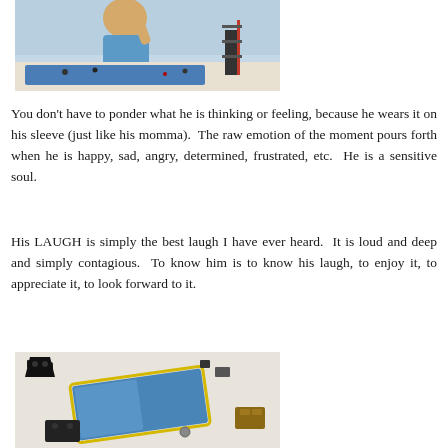[Figure (photo): Young child in blue shirt sitting at a table, looking at objects including what appears to be a construction/LEGO set]
You don't have to ponder what he is thinking or feeling, because he wears it on his sleeve (just like his momma).  The raw emotion of the moment pours forth when he is happy, sad, angry, determined, frustrated, etc.  He is a sensitive soul.
His LAUGH is simply the best laugh I have ever heard.  It is loud and deep and simply contagious.  To know him is to know his laugh, to enjoy it, to appreciate it, to look forward to it.
[Figure (photo): Top-down view of LEGO pieces and instruction booklet spread out on a white surface]